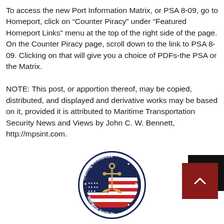To access the new Port Information Matrix, or PSA 8-09, go to Homeport, click on “Counter Piracy” under “Featured Homeport Links” menu at the top of the right side of the page. On the Counter Piracy page, scroll down to the link to PSA 8-09. Clicking on that will give you a choice of PDFs-the PSA or the Matrix.
NOTE: This post, or apportion thereof, may be copied, distributed, and displayed and derivative works may be based on it, provided it is attributed to Maritime Transportation Security News and Views by John C. W. Bennett, http://mpsint.com.
[Figure (logo): Training Resources Maritime Institute circular logo with anchor and American flag]